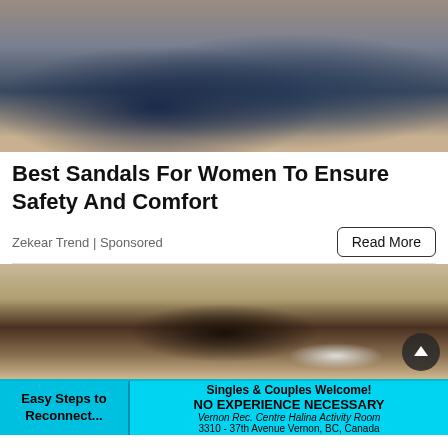[Figure (photo): Photo of blue laser-cut leather women's sandals/shoes on a stone surface]
Best Sandals For Women To Ensure Safety And Comfort
Zekear Trend | Sponsored
Read More
[Figure (photo): Photo of a dark outdoor wall lantern/lamp mounted on a textured stucco wall with a white LED bulb]
[Figure (infographic): Advertisement banner: Easy Steps to Reconnect... | Singles & Couples Welcome! NO EXPERIENCE NECESSARY Vernon Rec. Centre Halina Activity Room 3310 - 37th Avenue Vernon, BC, Canada]